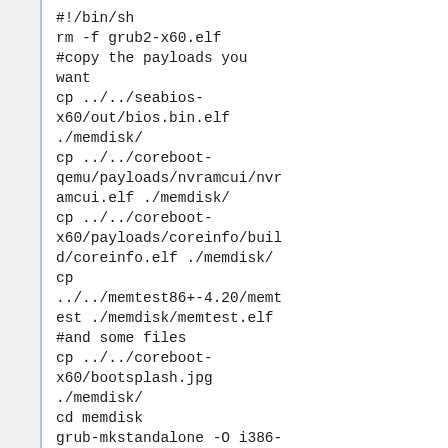#!/bin/sh
rm -f grub2-x60.elf
#copy the payloads you want
cp ../../seabios-x60/out/bios.bin.elf ./memdisk/
cp ../../coreboot-qemu/payloads/nvramcui/nvramcui.elf ./memdisk/
cp ../../coreboot-x60/payloads/coreinfo/build/coreinfo.elf ./memdisk/
cp ../../memtest86+-4.20/memtest ./memdisk/memtest.elf
#and some files
cp ../../coreboot-x60/bootsplash.jpg ./memdisk/
cd memdisk
grub-mkstandalone -O i386-coreboot -o ../grub2-x60.elf $(find -type f)